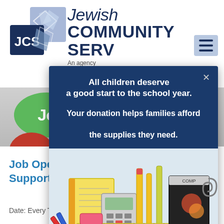[Figure (screenshot): Jewish Community Services (JCS) website screenshot showing logo with JCS initials and geometric shapes, navigation header, chat bubbles, and job listing page content partially obscured by a popup modal]
[Figure (infographic): Popup modal with dark blue background containing text: 'All children deserve a good start to the school year. Your donation helps families afford the supplies they need.' with an image of school supplies (pencils, notebooks, ruler, calculator, crayons) below.]
All children deserve a good start to the school year.
Your donation helps families afford the supplies they need.
Job Open House for Direct Support Professionals
Date: Every Tuesday from 8:30 am – 5:00 pm at JCS